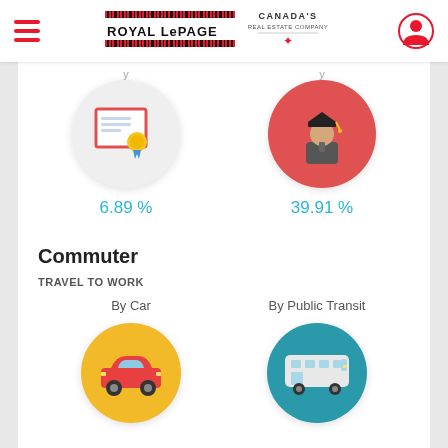Royal LePage — Canada's Real Estate Company
[Figure (illustration): Certificate/diploma icon inside a light gray circle]
6.89 %
[Figure (illustration): Graduate student icon inside a red circle]
39.91 %
Commuter
TRAVEL TO WORK
By Car
[Figure (illustration): Car icon inside a yellow/orange circle]
By Public Transit
[Figure (illustration): Bus icon inside a teal circle]